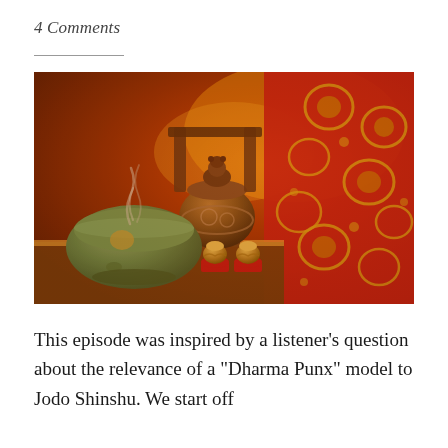4 Comments
[Figure (photo): Buddhist altar scene with a green ceramic incense bowl with smoke rising, a decorative bronze incense burner with a lion figure on top, small gold ritual cups on red bases, and vibrant red and gold brocade fabric in the background.]
This episode was inspired by a listener's question about the relevance of a "Dharma Punx" model to Jodo Shinshu. We start off